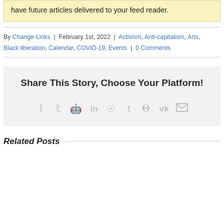have future articles delivered to your feed reader.
By Change-Links | February 1st, 2022 | Activism, Anti-capitalism, Arts, Black liberation, Calendar, COVID-19, Events | 0 Comments
Share This Story, Choose Your Platform!
[Figure (other): Social sharing icons: Facebook, Twitter, Reddit, LinkedIn, WhatsApp, Tumblr, Pinterest, VK, Email]
Related Posts